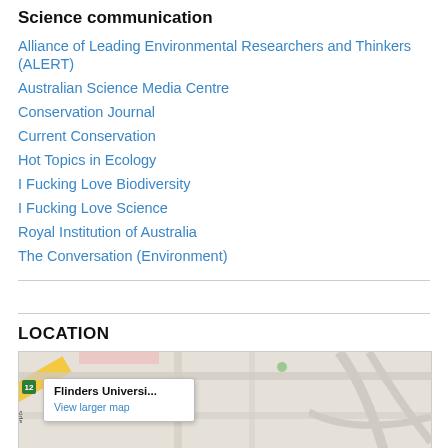Science communication
Alliance of Leading Environmental Researchers and Thinkers (ALERT)
Australian Science Media Centre
Conservation Journal
Current Conservation
Hot Topics in Ecology
I Fucking Love Biodiversity
I Fucking Love Science
Royal Institution of Australia
The Conversation (Environment)
LOCATION
[Figure (map): Google map showing Flinders University location with a popup label reading 'Flinders Universi...' and a 'View larger map' link.]